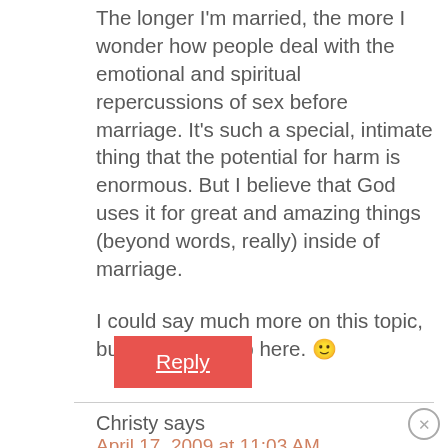The longer I'm married, the more I wonder how people deal with the emotional and spiritual repercussions of sex before marriage. It's such a special, intimate thing that the potential for harm is enormous. But I believe that God uses it for great and amazing things (beyond words, really) inside of marriage.
I could say much more on this topic, but I think I'll stop here. 🙂
Reply
Christy says
April 17, 2009 at 11:03 AM